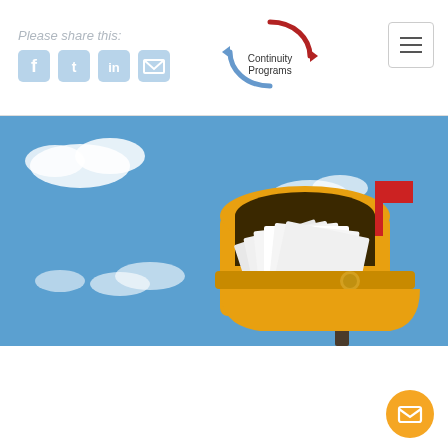Please share this:
[Figure (logo): Continuity Programs logo with circular arrow in red and blue]
[Figure (photo): Yellow mailbox open with white envelopes inside, red flag up, blue sky with clouds in background]
Direct Mail